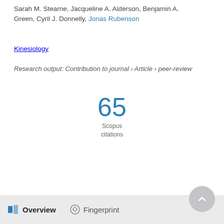Sarah M. Stearne, Jacqueline A. Alderson, Benjamin A. Green, Cyril J. Donnelly, Jonas Rubenson
Kinesiology
Research output: Contribution to journal › Article › peer-review
65 Scopus citations
Overview   Fingerprint